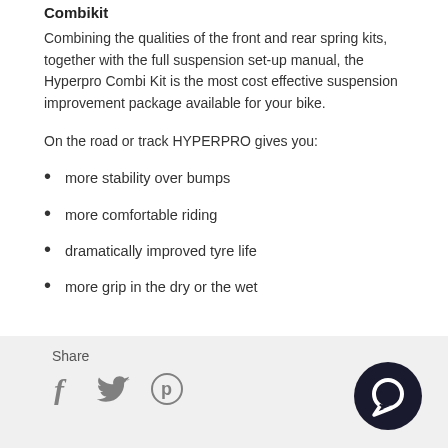Combikit
Combining the qualities of the front and rear spring kits, together with the full suspension set-up manual, the Hyperpro Combi Kit is the most cost effective suspension improvement package available for your bike.
On the road or track HYPERPRO gives you:
more stability over bumps
more comfortable riding
dramatically improved tyre life
more grip in the dry or the wet
Share
[Figure (illustration): Social share icons: Facebook (f), Twitter (bird), Pinterest (P circle), and a chat bubble icon in the bottom right corner]